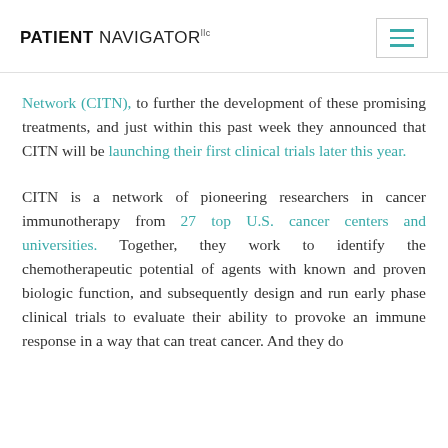PATIENT NAVIGATOR llc
Network (CITN), to further the development of these promising treatments, and just within this past week they announced that CITN will be launching their first clinical trials later this year.
CITN is a network of pioneering researchers in cancer immunotherapy from 27 top U.S. cancer centers and universities. Together, they work to identify the chemotherapeutic potential of agents with known and proven biologic function, and subsequently design and run early phase clinical trials to evaluate their ability to provoke an immune response in a way that can treat cancer. And they do